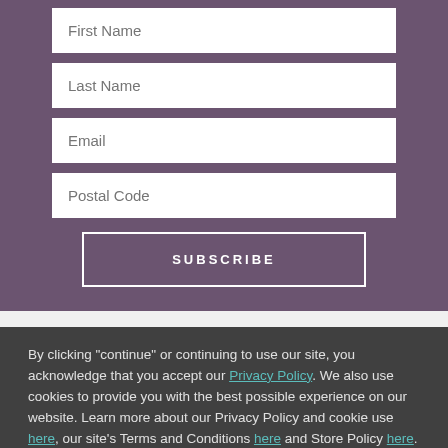First Name
Last Name
Email
Postal Code
SUBSCRIBE
By clicking "continue" or continuing to use our site, you acknowledge that you accept our Privacy Policy. We also use cookies to provide you with the best possible experience on our website. Learn more about our Privacy Policy and cookie use here, our site's Terms and Conditions here and Store Policy here.
Continue